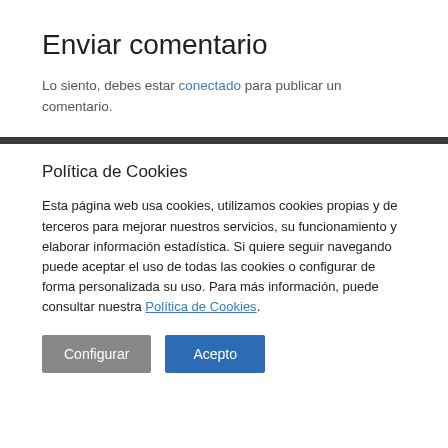Enviar comentario
Lo siento, debes estar conectado para publicar un comentario.
Política de Cookies
Esta página web usa cookies, utilizamos cookies propias y de terceros para mejorar nuestros servicios, su funcionamiento y elaborar información estadística. Si quiere seguir navegando puede aceptar el uso de todas las cookies o configurar de forma personalizada su uso. Para más información, puede consultar nuestra Política de Cookies.
Configurar | Acepto